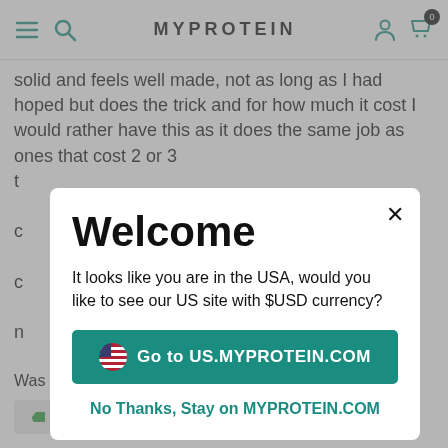MYPROTEIN
solid and feels well made, not as long as I had hoped but does the trick and for how much it cost I would rather have this as it does the same job as ones that cost 2 or 3 t...
Welcome
It looks like you are in the USA, would you like to see our US site with $USD currency?
Go to US.MYPROTEIN.COM
No Thanks, Stay on MYPROTEIN.COM
Was this helpful?
Yes (2)
No (0)
Report this review